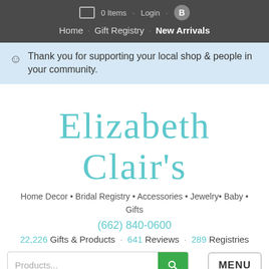0 Items · Login
Home · Gift Registry · New Arrivals
Thank you for supporting your local shop & people in your community.
[Figure (logo): Elizabeth Clair's handwritten script logo in teal/turquoise color]
Home Decor • Bridal Registry • Accessories • Jewelry• Baby • Gifts
(662) 840-0600
22,226 Gifts & Products · 641 Reviews · 289 Registries